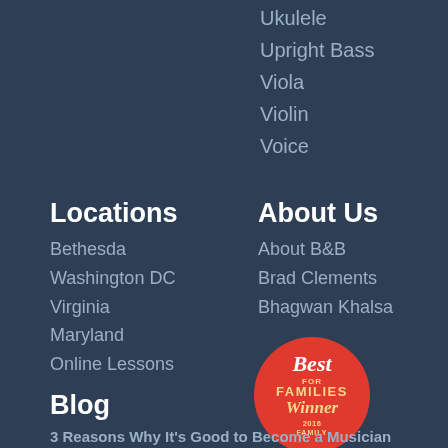Ukulele
Upright Bass
Viola
Violin
Voice
Locations
Bethesda
Washington DC
Virginia
Maryland
Online Lessons
About Us
About B&B
Brad Clements
Bhagwan Khalsa
[Figure (logo): Best For Families Winner 2016 Family award badge - red circle with text]
Blog
3 Reasons Why It's Good to Become a Musician